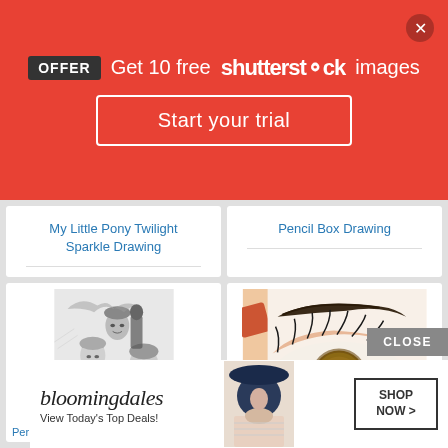[Figure (screenshot): Red Shutterstock promotional banner with OFFER badge, text 'Get 10 free shutterstock images', a 'Start your trial' button, and a close X button]
My Little Pony Twilight Sparkle Drawing
Pencil Box Drawing
[Figure (illustration): Black and white pencil drawing of multiple faces (group portrait)]
[Figure (illustration): Color pencil drawing of a realistic human eye with long eyelashes]
Per
[Figure (screenshot): Bloomingdale's advertisement: 'View Today's Top Deals!' with photo of woman in hat and SHOP NOW button. CLOSE button visible above.]